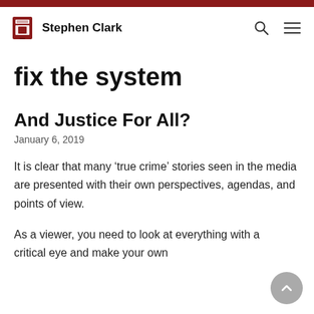Stephen Clark
fix the system
And Justice For All?
January 6, 2019
It is clear that many ‘true crime’ stories seen in the media are presented with their own perspectives, agendas, and points of view.
As a viewer, you need to look at everything with a critical eye and make your own